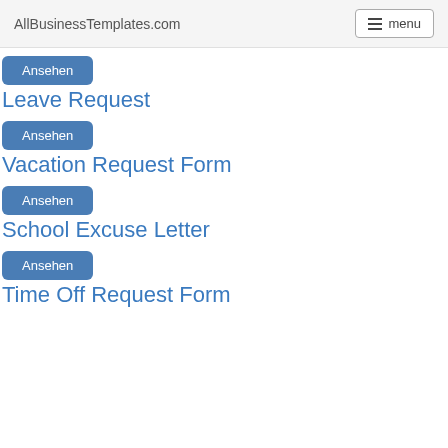AllBusinessTemplates.com  menu
Ansehen
Leave Request
Ansehen
Vacation Request Form
Ansehen
School Excuse Letter
Ansehen
Time Off Request Form